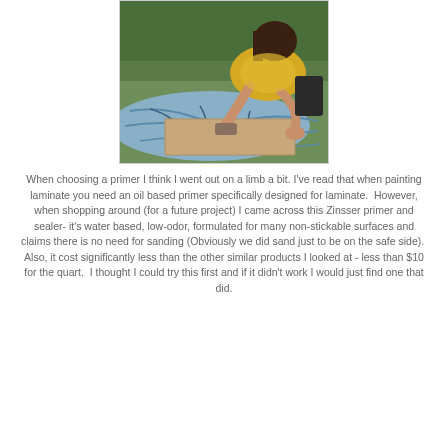[Figure (photo): A person wearing a yellow t-shirt crouching on a blue tarp outdoors on grass, sanding a flat board with a sanding block.]
When choosing a primer I think I went out on a limb a bit. I've read that when painting laminate you need an oil based primer specifically designed for laminate. However, when shopping around (for a future project) I came across this Zinsser primer and sealer- it's water based, low-odor, formulated for many non-stickable surfaces and claims there is no need for sanding (Obviously we did sand just to be on the safe side). Also, it cost significantly less than the other similar products I looked at - less than $10 for the quart. I thought I could try this first and if it didn't work I would just find one that did.